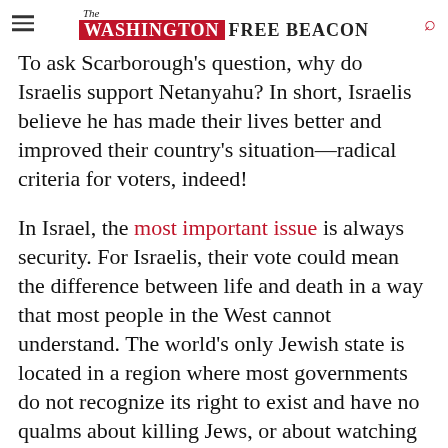The Washington Free Beacon
To ask Scarborough's question, why do Israelis support Netanyahu? In short, Israelis believe he has made their lives better and improved their country's situation—radical criteria for voters, indeed!
In Israel, the most important issue is always security. For Israelis, their vote could mean the difference between life and death in a way that most people in the West cannot understand. The world's only Jewish state is located in a region where most governments do not recognize its right to exist and have no qualms about killing Jews, or about watching others kill them. Directly to the east, Israelis see the Palestinian Authority, which rewards terrorists who try to murder them